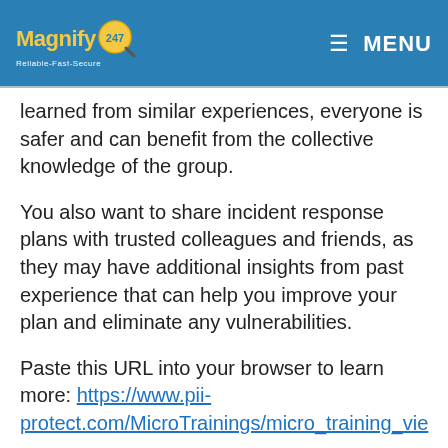Magnify247 | Reliable-Fast-Secure   ☰ MENU
learned from similar experiences, everyone is safer and can benefit from the collective knowledge of the group.
You also want to share incident response plans with trusted colleagues and friends, as they may have additional insights from past experience that can help you improve your plan and eliminate any vulnerabilities.
Paste this URL into your browser to learn more: https://www.pii-protect.com/MicroTrainings/micro_training_vie